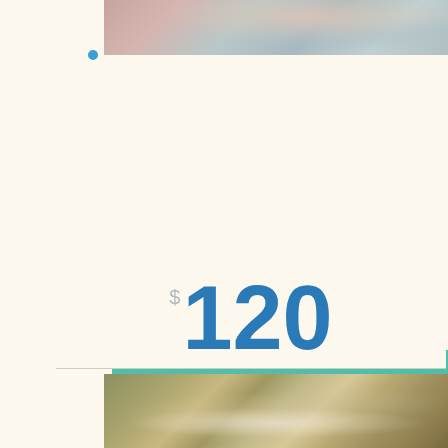[Figure (photo): Close-up photo of a massage on a person's neck/shoulder area, showing hands and gray/silver hair]
90 Minute Massage
BEST DEAL
$120
[Figure (photo): Photo of hands with flowers/white floral accessories, possibly a bouquet or floral decoration]